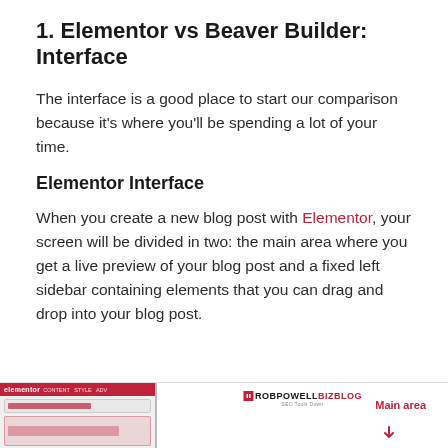1. Elementor vs Beaver Builder: Interface
The interface is a good place to start our comparison because it's where you'll be spending a lot of your time.
Elementor Interface
When you create a new blog post with Elementor, your screen will be divided in two: the main area where you get a live preview of your blog post and a fixed left sidebar containing elements that you can drag and drop into your blog post.
[Figure (screenshot): Screenshot of Elementor interface showing sidebar on left with red header bar and the main preview area on the right, with RobPowellBizBlog logo and 'Main area' label in red]